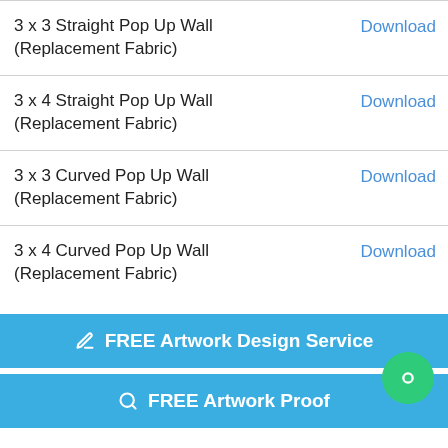3 x 3 Straight Pop Up Wall (Replacement Fabric) Download
3 x 4 Straight Pop Up Wall (Replacement Fabric) Download
3 x 3 Curved Pop Up Wall (Replacement Fabric) Download
3 x 4 Curved Pop Up Wall (Replacement Fabric) Download
FREE Artwork Design Service
FREE Artwork Proof
Detailed Information: